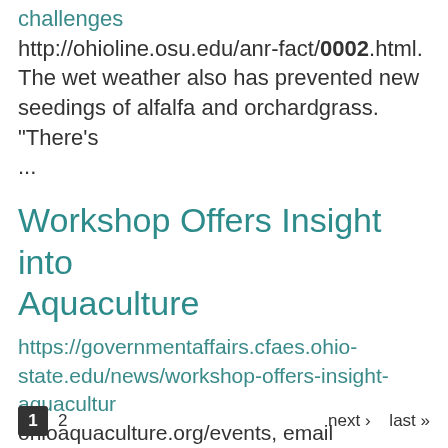challenges http://ohioline.osu.edu/anr-fact/0002.html. The wet weather also has prevented new seedings of alfalfa and orchardgrass. "There's ...
Workshop Offers Insight into Aquaculture
https://governmentaffairs.cfaes.ohio-state.edu/news/workshop-offers-insight-aquacultur ohioaquaculture.org/events, email info@ohioaquaculture.org or call 614-604-8823. The deadline to register is Oct. 25. ...
1 2 next › last »